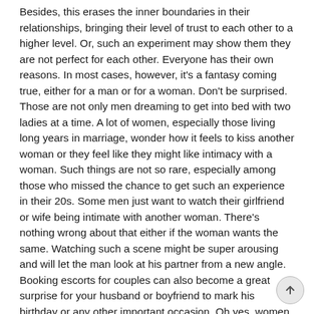Besides, this erases the inner boundaries in their relationships, bringing their level of trust to each other to a higher level. Or, such an experiment may show them they are not perfect for each other. Everyone has their own reasons. In most cases, however, it's a fantasy coming true, either for a man or for a woman. Don't be surprised. Those are not only men dreaming to get into bed with two ladies at a time. A lot of women, especially those living long years in marriage, wonder how it feels to kiss another woman or they feel like they might like intimacy with a woman. Such things are not so rare, especially among those who missed the chance to get such an experience in their 20s. Some men just want to watch their girlfriend or wife being intimate with another woman. There's nothing wrong about that either if the woman wants the same. Watching such a scene might be super arousing and will let the man look at his partner from a new angle. Booking escorts for couples can also become a great surprise for your husband or boyfriend to mark his birthday or any other important occasion. Oh yes, women can be very unpredictable when it comes to choosing a perfect birthday present for their men. So if you want to astonish your partner, there's no better way to do that. Especially if you know that threesome has ever been on his wish list. And, let's be honest, who of us never thought about having a threesome? At least once in a lifetime, such an idea comes to almost every head. So why don't you